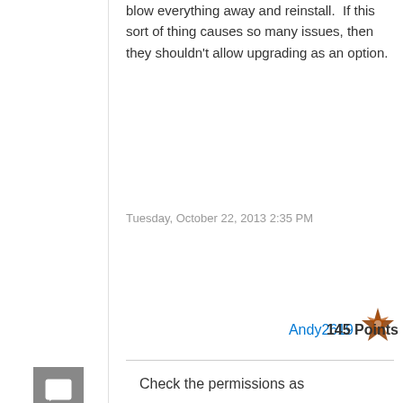blow everything away and reinstall.  If this sort of thing causes so many issues, then they shouldn't allow upgrading as an option.
Tuesday, October 22, 2013 2:35 PM
Andy2619   145 Points
0
Sign in to vote
Check the permissions as